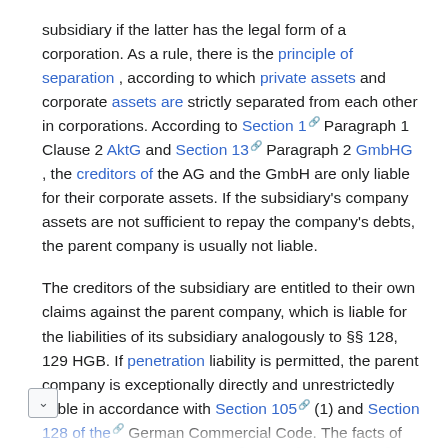subsidiary if the latter has the legal form of a corporation. As a rule, there is the principle of separation , according to which private assets and corporate assets are strictly separated from each other in corporations. According to Section 1 Paragraph 1 Clause 2 AktG and Section 13 Paragraph 2 GmbHG , the creditors of the AG and the GmbH are only liable for their corporate assets. If the subsidiary's company assets are not sufficient to repay the company's debts, the parent company is usually not liable.
The creditors of the subsidiary are entitled to their own claims against the parent company, which is liable for the liabilities of its subsidiary analogously to §§ 128, 129 HGB. If penetration liability is permitted, the parent company is exceptionally directly and unrestrictedly liable in accordance with Section 105 (1) and Section 128 of the German Commercial Code. The facts of capital maintenance (§ § 57 , § 62 AktG, § 30 , § 31 GmbHG) take